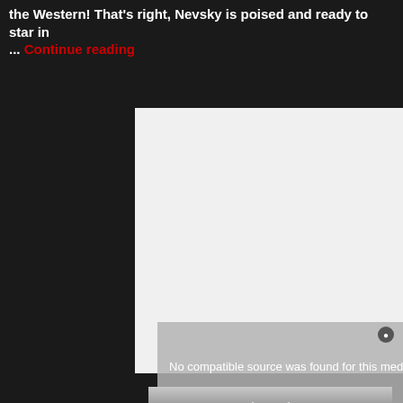the Western! That's right, Nevsky is poised and ready to star in ... Continue reading
[Figure (screenshot): A white/light gray rectangle representing an embedded video player area, with a media error overlay message reading 'No compatible source was found for this media.' and an X close icon. Below is a partially visible image area in gray tones.]